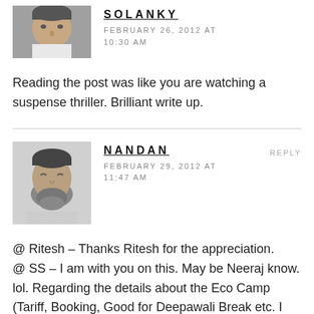[Figure (photo): Avatar photo of Solanky - partial face visible]
SOLANKY
FEBRUARY 26, 2012 AT 10:30 AM
Reading the post was like you are watching a suspense thriller. Brilliant write up.
[Figure (photo): Avatar photo of Nandan - man with beard]
NANDAN
REPLY
FEBRUARY 29, 2012 AT 11:47 AM
@ Ritesh – Thanks Ritesh for the appreciation.
@ SS – I am with you on this. May be Neeraj know. lol. Regarding the details about the Eco Camp (Tariff, Booking, Good for Deepawali Break etc. I am